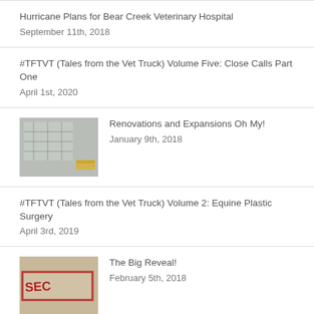Hurricane Plans for Bear Creek Veterinary Hospital
September 11th, 2018
#TFTVT (Tales from the Vet Truck) Volume Five: Close Calls Part One
April 1st, 2020
Renovations and Expansions Oh My!
January 9th, 2018
#TFTVT (Tales from the Vet Truck) Volume 2: Equine Plastic Surgery
April 3rd, 2019
The Big Reveal!
February 5th, 2018